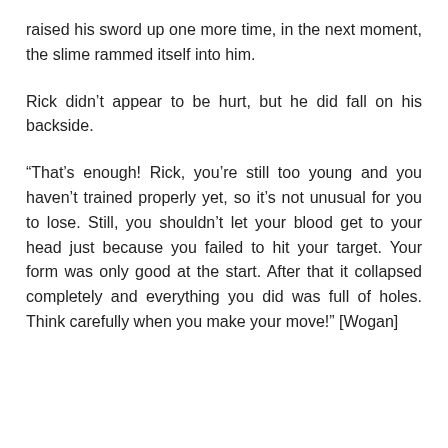raised his sword up one more time, in the next moment, the slime rammed itself into him.
Rick didn't appear to be hurt, but he did fall on his backside.
“That’s enough! Rick, you’re still too young and you haven’t trained properly yet, so it’s not unusual for you to lose. Still, you shouldn’t let your blood get to your head just because you failed to hit your target. Your form was only good at the start. After that it collapsed completely and everything you did was full of holes. Think carefully when you make your move!” [Wogan]